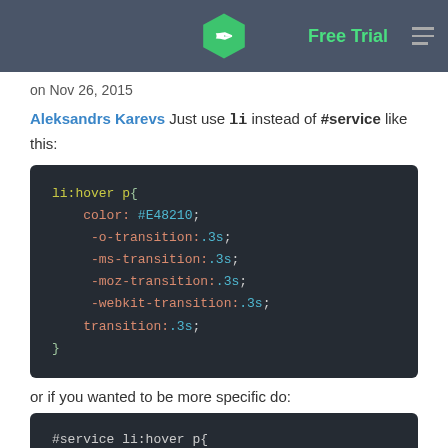Free Trial
on Nov 26, 2015
Aleksandrs Karevs Just use li instead of #service like this:
[Figure (screenshot): Code block showing CSS: li:hover p{ color: #E48210; -o-transition:.3s; -ms-transition:.3s; -moz-transition:.3s; -webkit-transition:.3s; transition:.3s; }]
or if you wanted to be more specific do:
[Figure (screenshot): Code block showing CSS: #service li:hover p{ color: #E48210; -o-transition:.3s;]